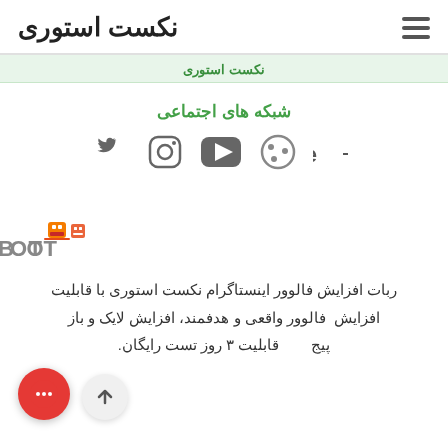نکست استوری
شبکه های اجتماعی
[Figure (illustration): Social media icons: Behance, Dribbble, YouTube, Instagram, Twitter]
[Figure (logo): ROBOT logo with orange/red robot head graphic]
ربات افزایش فالوور اینستاگرام نکست استوری با قابلیت افزایش فالوور واقعی و هدفمند، افزایش لایک و باز پیج قابلیت ۳ روز تست رایگان.